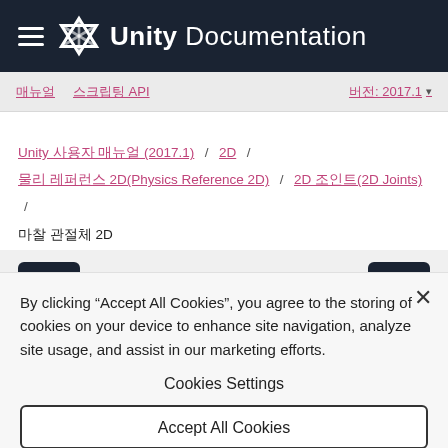Unity Documentation
매뉴얼  스크립팅 API  버전: 2017.1
Unity 사용자 매뉴얼 (2017.1) / 2D / 물리 레퍼런스 2D(Physics Reference 2D) / 2D 조인트(2D Joints) / 마찰 관절체 2D
[Figure (infographic): Navigation buttons: left arrow button and right arrow button on a light gray background]
By clicking "Accept All Cookies", you agree to the storing of cookies on your device to enhance site navigation, analyze site usage, and assist in our marketing efforts.
Cookies Settings
Accept All Cookies